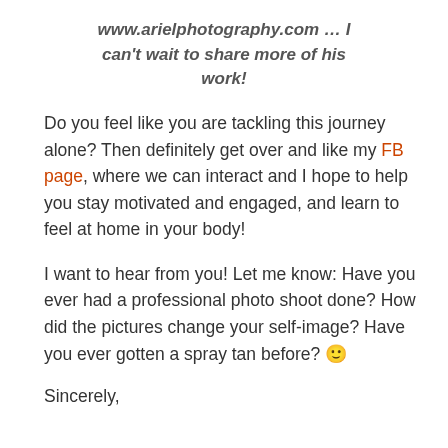www.arielphotography.com … I can't wait to share more of his work!
Do you feel like you are tackling this journey alone? Then definitely get over and like my FB page, where we can interact and I hope to help you stay motivated and engaged, and learn to feel at home in your body!
I want to hear from you! Let me know: Have you ever had a professional photo shoot done? How did the pictures change your self-image? Have you ever gotten a spray tan before? 🙂
Sincerely,